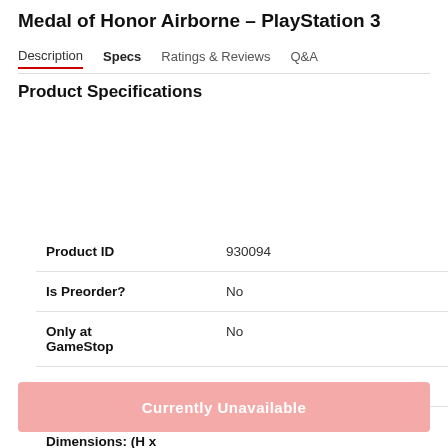Medal of Honor Airborne - PlayStation 3
Description | Specs | Ratings & Reviews | Q&A
Product Specifications
|  |  |
| --- | --- |
| Product ID | 930094 |
| Is Preorder? | No |
| Only at GameStop | No |
| Product Height | 0.4 |
| Product Dimensions: (H x W x L) | 0.40X3.53X4.40 |
Currently Unavailable